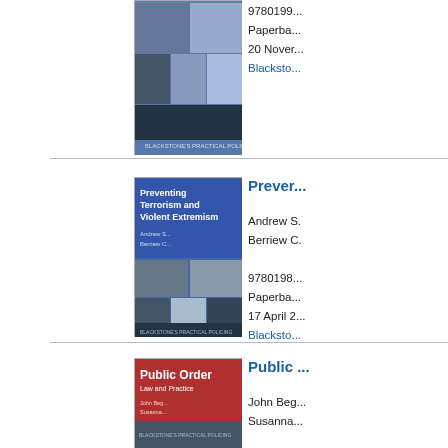[Figure (photo): Book cover for a Blackstone's Practical Policing title (grid of police/security images), partially visible at top]
9780199...
Paperba...
20 Nover...
Blacksto...
[Figure (photo): Book cover: Preventing Terrorism and Violent Extremism, Andrew S., Berriew C., Blackstone's Practical Policing series]
Prever...
Andrew S.
Berriew C.

9780198...
Paperba...
17 April 2...
Blacksto...
[Figure (photo): Book cover: Public Order Law and Practice, John Beg., Susanna, Blackstone's Practical Policing series]
Public ...
John Beg.
Susanna...

9780199...
Paperba...
26 Janua...